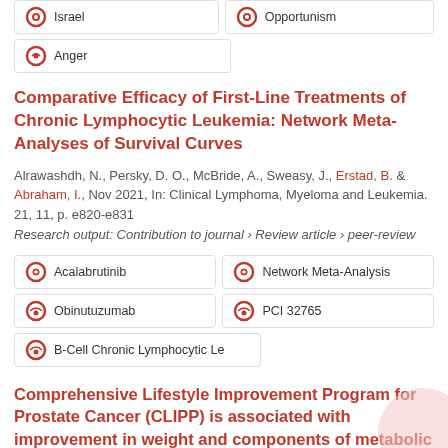Israel
Opportunism
Anger
Comparative Efficacy of First-Line Treatments of Chronic Lymphocytic Leukemia: Network Meta-Analyses of Survival Curves
Alrawashdh, N., Persky, D. O., McBride, A., Sweasy, J., Erstad, B. & Abraham, I., Nov 2021, In: Clinical Lymphoma, Myeloma and Leukemia. 21, 11, p. e820-e831
Research output: Contribution to journal › Review article › peer-review
Acalabrutinib
Network Meta-Analysis
Obinutuzumab
PCI 32765
B-Cell Chronic Lymphocytic Le
Comprehensive Lifestyle Improvement Program for Prostate Cancer (CLIPP) is associated with improvement in weight and components of metabolic